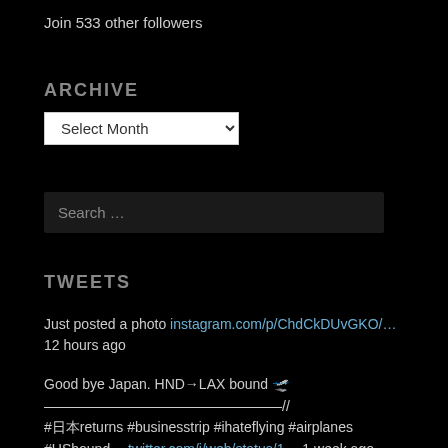Join 533 other followers
ARCHIVE
Select Month (dropdown)
Search …
TWEETS
Just posted a photo instagram.com/p/ChdCkDUvGKO/… 12 hours ago
Good bye Japan. HND→LAX bound 🛫 ————————————// #日本returns #businesstrip #ihateflying #airplanes #USbound… twitter.com/i/web/status/1… 1 week ago